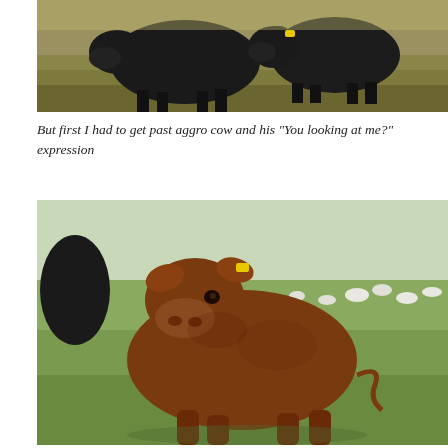[Figure (photo): Two black cattle standing in a dry grassy field, looking toward the camera. One cow faces forward with an aggressive expression.]
But first I had to get past aggro cow and his "You looking at me?" expression
[Figure (photo): A reddish-brown cow (resembling an orangutan in color) standing in a green pasture, facing the camera. Black cattle and white sheep visible in the background.]
And "Orangucow" Part Orangutan part cow